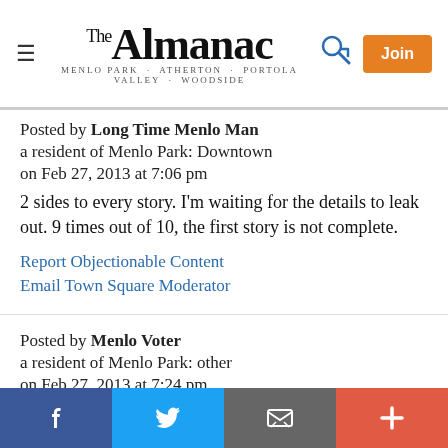The Almanac - Menlo Park · Atherton · Portola Valley · Woodside
Posted by Long Time Menlo Man
a resident of Menlo Park: Downtown
on Feb 27, 2013 at 7:06 pm
2 sides to every story. I'm waiting for the details to leak out. 9 times out of 10, the first story is not complete.
Report Objectionable Content
Email Town Square Moderator
Posted by Menlo Voter
a resident of Menlo Park: other
on Feb 27, 2013 at 7:24 pm
heads:
Facebook | Twitter | Email | +